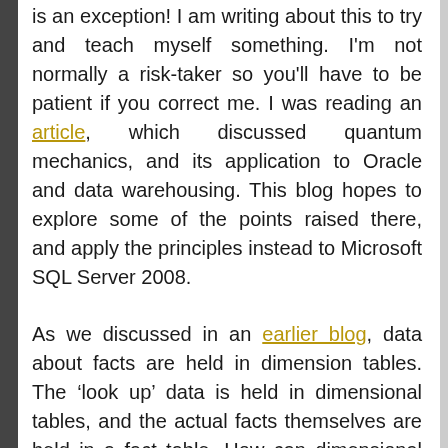is an exception! I am writing about this to try and teach myself something. I'm not normally a risk-taker so you'll have to be patient if you correct me. I was reading an article, which discussed quantum mechanics, and its application to Oracle and data warehousing. This blog hopes to explore some of the points raised there, and apply the principles instead to Microsoft SQL Server 2008.
As we discussed in an earlier blog, data about facts are held in dimension tables. The ‘look up’ data is held in dimensional tables, and the actual facts themselves are held in a fact table. How can dimensional tables be configured to cope with data or ‘real life’ changes?
Dimensional modeling implements a methodology called ‘Slowly Changing Dimensions’ or SCD in order to